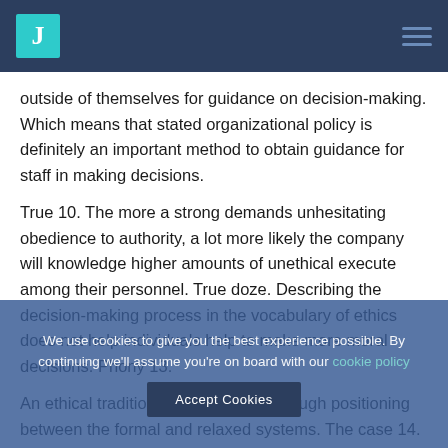J
outside of themselves for guidance on decision-making. Which means that stated organizational policy is definitely an important method to obtain guidance for staff in making decisions.
True 10. The more a strong demands unhesitating obedience to authority, a lot more likely the company will knowledge higher amounts of unethical execute among their personnel. True doze. Describing the decision-making process in the vocabulary of ethics does not help individuals help to make more moral decisions. Phony 13.
An ethical traditions is maintained through positioning between the formal and relaxed systems. The case 14. A 2006 study found that 82 percent of Americans wish to be paid less nevertheless work for an ethical business than be paid more and work for an unethical company. The case
We use cookies to give you the best experience possible. By continuing we'll assume you're on board with our cookie policy
Accept Cookies